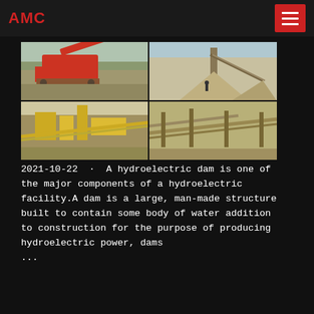AMC
[Figure (photo): Four-panel photo grid showing mining/crushing equipment and conveyor systems at an open-pit mining or quarry site. Top-left: red mobile crusher/screener on sandy terrain. Top-right: large conveyor structure with gravel stockpiles. Bottom-left: yellow crushing and screening plant. Bottom-right: industrial conveyor belt system.]
2021-10-22 · A hydroelectric dam is one of the major components of a hydroelectric facility.A dam is a large, man-made structure built to contain some body of water addition to construction for the purpose of producing hydroelectric power, dams ...